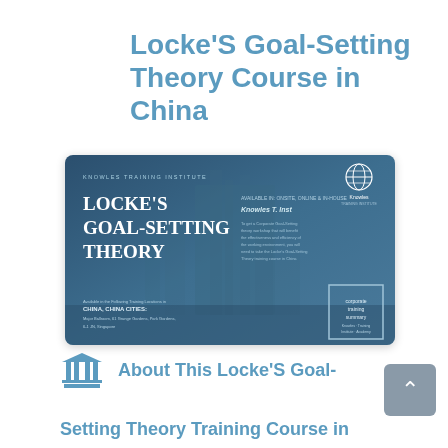Locke'S Goal-Setting Theory Course in China
[Figure (illustration): Course brochure/flyer for Locke's Goal-Setting Theory by Knowles Training Institute, showing a blue-toned design with a city building background, globe logo, and course details including corporate training summary badge.]
About This Locke'S Goal-Setting Theory Training Course in